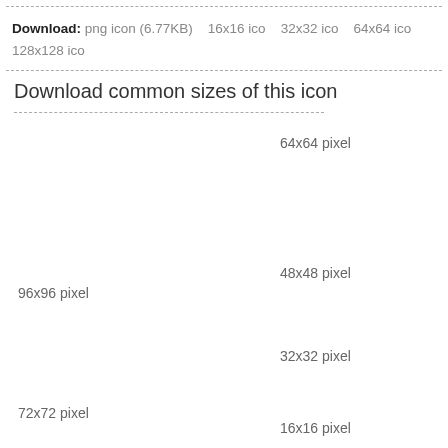Download: png icon (6.77KB)   16x16 ico   32x32 ico   64x64 ico   128x128 ico
Download common sizes of this icon
64x64 pixel
48x48 pixel
96x96 pixel
32x32 pixel
72x72 pixel
16x16 pixel